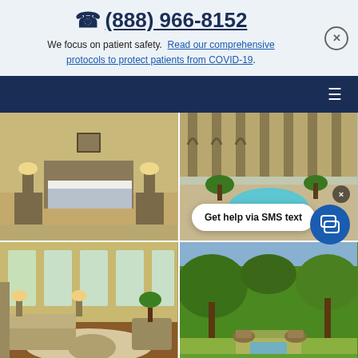(888) 966-8152
We focus on patient safety. Read our comprehensive protocols to protect patients from COVID-19.
[Figure (photo): Hotel-style patient bedroom with bed, nightstands, lamps, dresser, and framed art]
[Figure (photo): Interior atrium with arched columns, tropical plants, and a pool/fountain]
[Figure (photo): Living room area with sofas, chairs, ottomans, and large windows]
[Figure (photo): Outdoor garden with large trees, decorative urns, and green landscaping]
Get help via SMS text